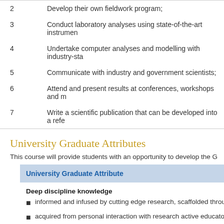2   Develop their own fieldwork program;
3   Conduct laboratory analyses using state-of-the-art instrumen...
4   Undertake computer analyses and modelling with industry-sta...
5   Communicate with industry and government scientists;
6   Attend and present results at conferences, workshops and m...
7   Write a scientific publication that can be developed into a refe...
University Graduate Attributes
This course will provide students with an opportunity to develop the G...
| University Graduate Attribute |
| --- |
| Deep discipline knowledge |
| informed and infused by cutting edge research, scaffolded throu... |
| acquired from personal interaction with research active educato... |
| accredited or validated against national or international stand... |